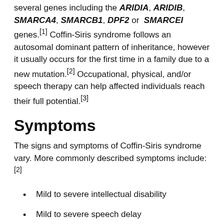several genes including the ARIDIA, ARIDIB, SMARCA4, SMARCB1, DPF2 or SMARCEI genes.[1] Coffin-Siris syndrome follows an autosomal dominant pattern of inheritance, however it usually occurs for the first time in a family due to a new mutation.[2] Occupational, physical, and/or speech therapy can help affected individuals reach their full potential.[3]
Symptoms
The signs and symptoms of Coffin-Siris syndrome vary. More commonly described symptoms include:[2]
Mild to severe intellectual disability
Mild to severe speech delay
Mild to severe delay in motor skills, such as